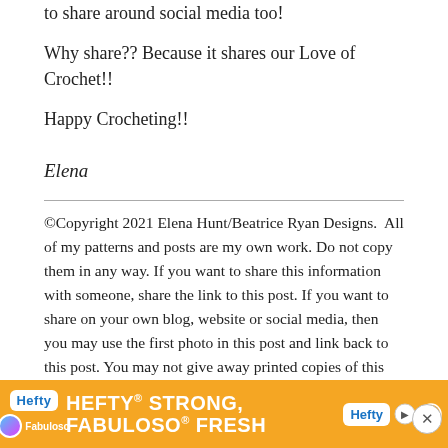to share around social media too!
Why share?? Because it shares our Love of Crochet!!
Happy Crocheting!!
Elena
©Copyright 2021 Elena Hunt/Beatrice Ryan Designs. All of my patterns and posts are my own work. Do not copy them in any way. If you want to share this information with someone, share the link to this post. If you want to share on your own blog, website or social media, then you may use the first photo in this post and link back to this post. You may not give away printed copies of this post. The above... This post contains affiliate
[Figure (infographic): Advertisement banner for Hefty Strong, Fabuloso Fresh products with orange background]